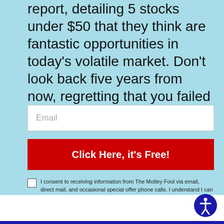report, detailing 5 stocks under $50 that they think are fantastic opportunities in today's volatile market. Don't look back five years from now, regretting that you failed to act.
Email
Click Here, it's Free!
I consent to receiving information from The Motley Fool via email, direct mail, and occasional special offer phone calls. I understand I can unsubscribe from these updates at any time. Please read the Privacy Statement and Terms of Service for further information.